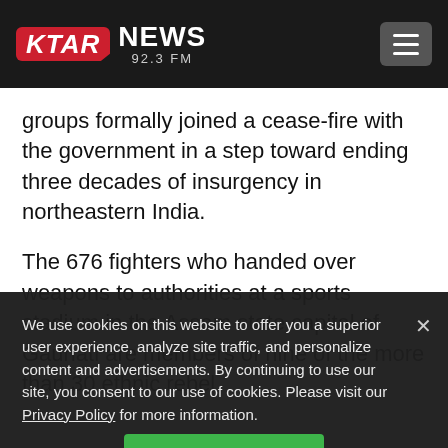KTAR NEWS 92.3 FM
groups formally joined a cease-fire with the government in a step toward ending three decades of insurgency in northeastern India.
The 676 fighters who handed over weapons to authorities at a sports stadium in the Assam state capital of Gauhati are members of nine of the more than 30 ethnic rebel
We use cookies on this website to offer you a superior user experience, analyze site traffic, and personalize content and advertisements. By continuing to use our site, you consent to our use of cookies. Please visit our Privacy Policy for more information.